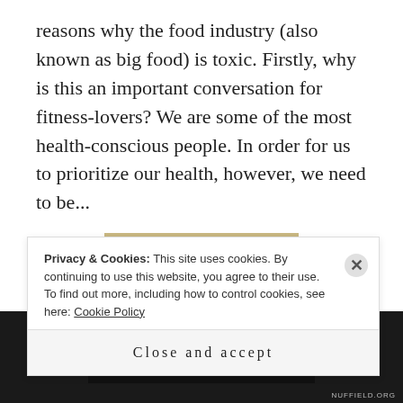reasons why the food industry (also known as big food) is toxic. Firstly, why is this an important conversation for fitness-lovers? We are some of the most health-conscious people. In order for us to prioritize our health, however, we need to be...
READ MORE
OLDER POSTS
Privacy & Cookies: This site uses cookies. By continuing to use this website, you agree to their use.
To find out more, including how to control cookies, see here: Cookie Policy
Close and accept